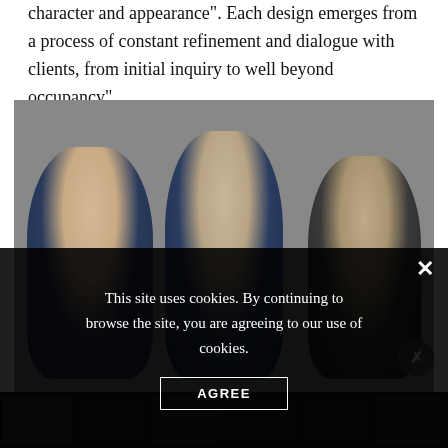character and appearance". Each design emerges from a process of constant refinement and dialogue with clients, from initial inquiry to well beyond occupancy".
[Figure (photo): Three men in suits standing together at what appears to be an upscale retail or gallery event. Left man has light gray hair and wears a navy blazer with open-collar white shirt. Center man has gray hair and wears a navy blazer over an open-collar white shirt. Right man has very short hair and wears a dark suit with a black tie.]
This site uses cookies. By continuing to browse the site, you are agreeing to our use of cookies.
AGREE